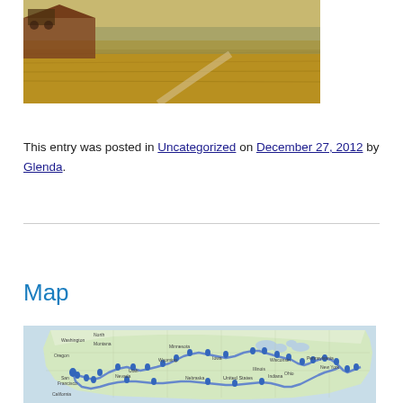[Figure (photo): Partial photo of a rural scene with golden/dry grass fields and a barn or farm structure in the background]
This entry was posted in Uncategorized on December 27, 2012 by Glenda.
Map
[Figure (map): A Google Maps view of the United States showing a road trip route marked with blue lines and multiple blue pin markers across the country, routing from the West Coast (San Francisco/California area) across the northern US and looping back through the southern states.]